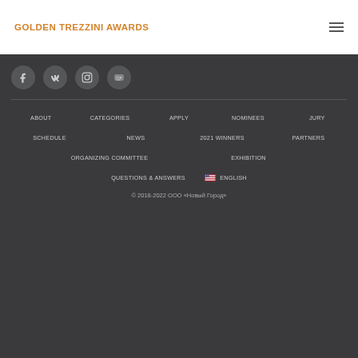GOLDEN TREZZINI AWARDS
[Figure (infographic): Four circular social media icon buttons: Facebook (f), VK, Instagram, YouTube, on dark background]
ABOUT
CATEGORIES
APPLY
NOMINEES
JURY
SCHEDULE
NEWS
2021 WINNERS
PARTNERS
ORGANIZING COMMITTEE
EXHIBITION
QUESTIONS & ANSWERS
ENGLISH
© 2018-2022 ООО «Новый Город»